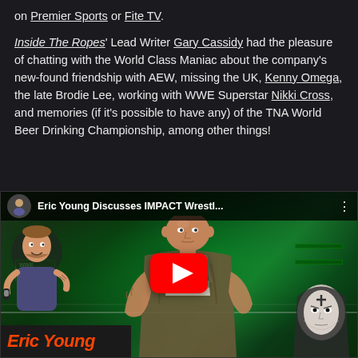on Premier Sports or Fite TV.
Inside The Ropes' Lead Writer Gary Cassidy had the pleasure of chatting with the World Class Maniac about the company's new-found friendship with AEW, missing the UK, Kenny Omega, the late Brodie Lee, working with WWE Superstar Nikki Cross, and memories (if it's possible to have any) of the TNA World Beer Drinking Championship, among other things!
[Figure (screenshot): YouTube video embed thumbnail showing Eric Young discussing IMPACT Wrestling. Features a bald wrestler in the center, a cartoon podcast mascot on the left, a dark character on the right, green arena lighting background, YouTube play button overlay, and 'Eric Young' text bar at bottom left.]